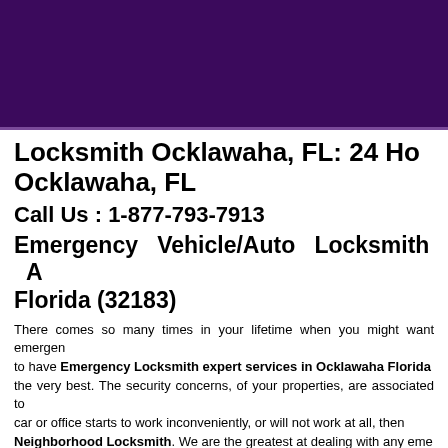[Figure (other): Dark purple header banner area]
Locksmith Ocklawaha, FL: 24 Ho... Ocklawaha, FL
Call Us : 1-877-793-7913
Emergency Vehicle/Auto Locksmith A... Florida (32183)
There comes so many times in your lifetime when you might want emergency... to have Emergency Locksmith expert services in Ocklawaha Florida... the very best. The security concerns, of your properties, are associated to... car or office starts to work inconveniently, or will not work at all, then... Neighborhood Locksmith. We are the greatest at dealing with any eme... insured and qualified Locksmiths.In case you found yourself in the locked in... or, if desired we can quickly do the cutting the lock.
24 hours fast locksmith in Florida